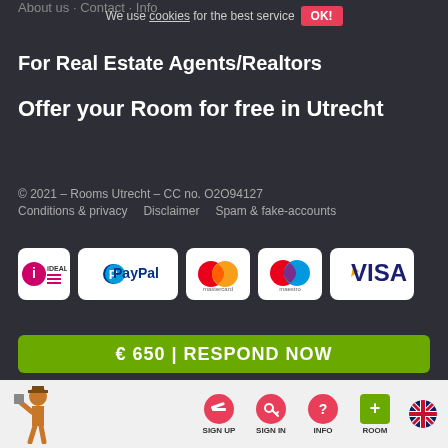About us · Contact · Info
We use cookies for the best service OK!
For Real Estate Agents/Realtors
Offer your Room for free in Utrecht
© 2021 – Rooms Utrecht – CC no. O2O94127
Conditions & privacy   Disclaimer   Spam & fake-accounts
[Figure (logo): Payment logos: iDEAL, PayPal, Mastercard, Maestro, VISA]
€ 650 | RESPOND NOW
[Figure (infographic): Bottom navigation bar with mascot figure, SIGN UP, SIGN IN, INFO, ROOM icons and UK flag]